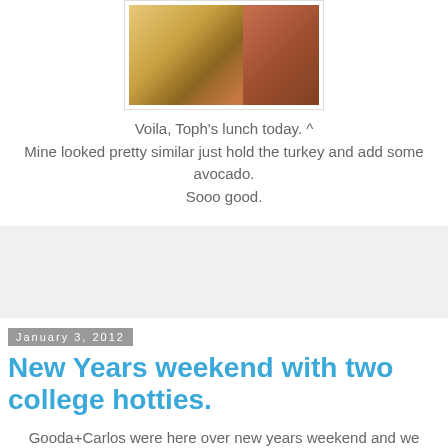[Figure (photo): Photo of food - an open-faced sandwich or toast with egg/cheese topping, and another food item with meat on the right side]
Voila, Toph's lunch today. ^
Mine looked pretty similar just hold the turkey and add some avocado.
Sooo good.
[Figure (other): Advertisement block - gray placeholder]
January 3, 2012
New Years weekend with two college hotties.
Gooda+Carlos were here over new years weekend and we made sure to show them a real good time.
A real good time included: